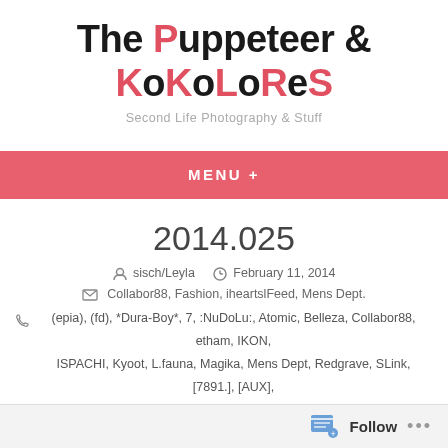The Puppeteer & KoKoLoReS
Second Life Photography & Stuff
MENU +
2014.025
sisch/Leyla   February 11, 2014
Collabor88, Fashion, iheartslFeed, Mens Dept.
(epia), (fd), *Dura-Boy*, 7, :NuDoLu:, Atomic, Belleza, Collabor88, etham, IKON, ISPACHI, Kyoot, L.fauna, Magika, Mens Dept, Redgrave, SLink, [7891.], [AUX], [KoKoLoReS], [PXL], [theSkinnery]
Follow